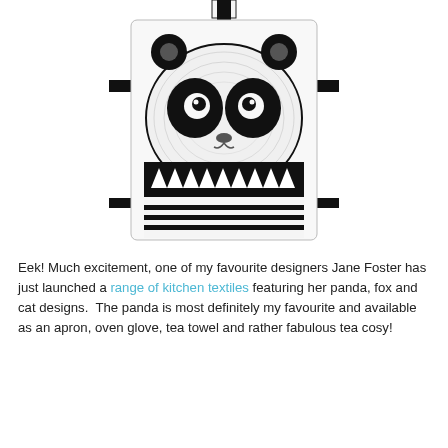[Figure (photo): A white apron with black ties featuring a bold black and white panda face design by Jane Foster, with geometric triangle and stripe patterns at the bottom.]
Eek! Much excitement, one of my favourite designers Jane Foster has just launched a range of kitchen textiles featuring her panda, fox and cat designs.  The panda is most definitely my favourite and available as an apron, oven glove, tea towel and rather fabulous tea cosy!